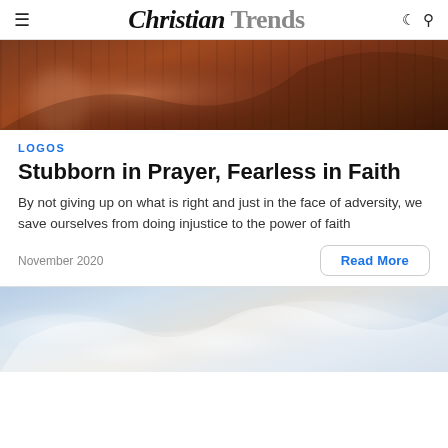Christian Trends
[Figure (photo): Close-up of wooden surface with warm brown tones, partial view of a person's arm/hand]
LOGOS
Stubborn in Prayer, Fearless in Faith
By not giving up on what is right and just in the face of adversity, we save ourselves from doing injustice to the power of faith
November 2020
[Figure (photo): Sky with wispy white clouds and light blue background]